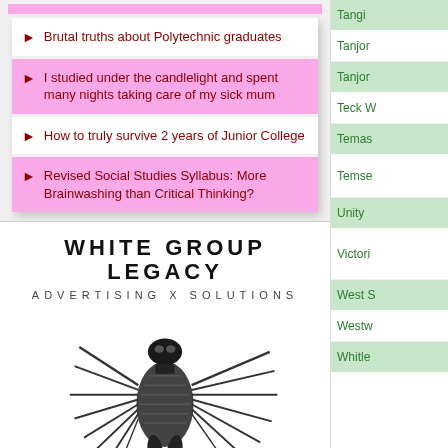Brutal truths about Polytechnic graduates
I studied under the candlelight and spent many nights taking care of my sick mum
How to truly survive 2 years of Junior College
Revised Social Studies Syllabus: More Brainwashing than Critical Thinking?
[Figure (logo): White Group Legacy – Advertising X Solutions logo with robotic creature illustration]
Tangi
Tanjor
Tanjor
Teck W
Temas
Temse
Unity
Victori
West S
Westw
Whitle